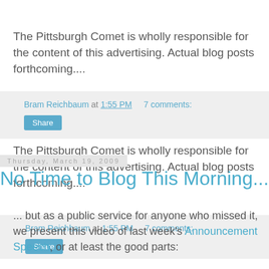The Pittsburgh Comet is wholly responsible for the content of this advertising. Actual blog posts forthcoming....
Bram Reichbaum at 1:55 PM   7 comments:
Share
Thursday, March 19, 2009
No Time to Blog This Morning...
... but as a public service for anyone who missed it, we present this video of last week's Announcement Speech, or at least the good parts: